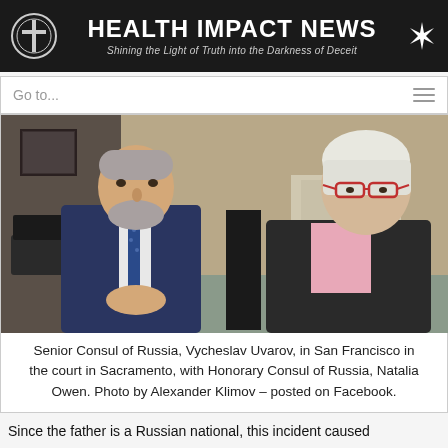HEALTH IMPACT NEWS — Shining the Light of Truth into the Darkness of Deceit
[Figure (photo): Two people seated in a courthouse waiting area: a man in a dark suit with a blue tie on the left, and an older woman with white hair and red-framed glasses wearing a dark jacket and pink blouse on the right. A woman in a dark dress walks in the background hallway.]
Senior Consul of Russia, Vycheslav Uvarov, in San Francisco in the court in Sacramento, with Honorary Consul of Russia, Natalia Owen. Photo by Alexander Klimov – posted on Facebook.
Since the father is a Russian national, this incident caused